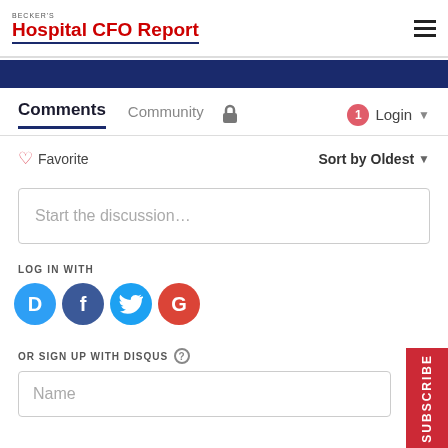Becker's Hospital CFO Report
[Figure (screenshot): Disqus comments widget screenshot showing Comments tab, Community tab, lock icon, notification badge, Login button, Favorite button, Sort by Oldest dropdown, Start the discussion text box, LOG IN WITH label, social login buttons (Disqus, Facebook, Twitter, Google), OR SIGN UP WITH DISQUS label, and Name input field]
LOG IN WITH
OR SIGN UP WITH DISQUS
SUBSCRIBE